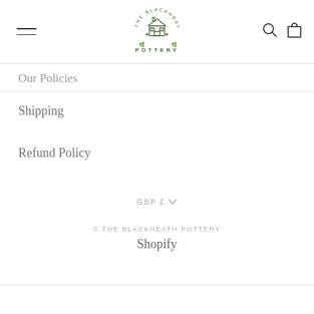The Blackheath Pottery — navigation header with logo, hamburger menu, search and cart icons
Our Policies
Shipping
Refund Policy
GBP £
© THE BLACKHEATH POTTERY
Shopify